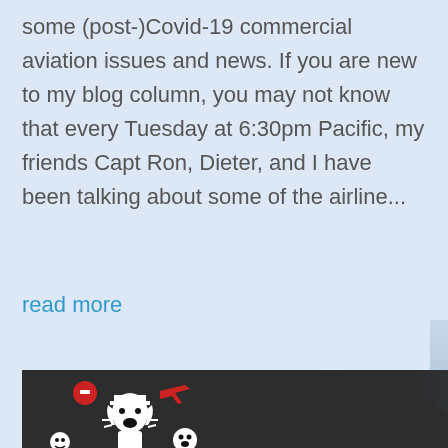some (post-)Covid-19 commercial aviation issues and news. If you are new to my blog column, you may not know that every Tuesday at 6:30pm Pacific, my friends Capt Ron, Dieter, and I have been talking about some of the airline...
read more
[Figure (illustration): Promotional image with dark panel on left showing cartoon frightened figures with red warning icons and a red airplane silhouette, and right panel showing a real airplane taking off against a blue sky with clouds. Text reads: 'WHEN CAN I STOP WORRYING ABOUT COVID-19 AND START WORRYING ABOUT FLYING AGAIN?' with a Need help? chat bubble widget in bottom right corner.]